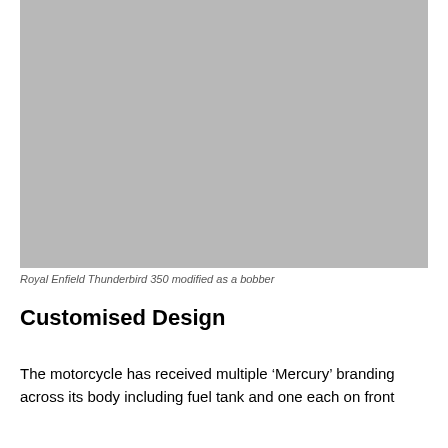[Figure (photo): Gray placeholder image representing a Royal Enfield Thunderbird 350 modified as a bobber motorcycle]
Royal Enfield Thunderbird 350 modified as a bobber
Customised Design
The motorcycle has received multiple ‘Mercury’ branding across its body including fuel tank and one each on front